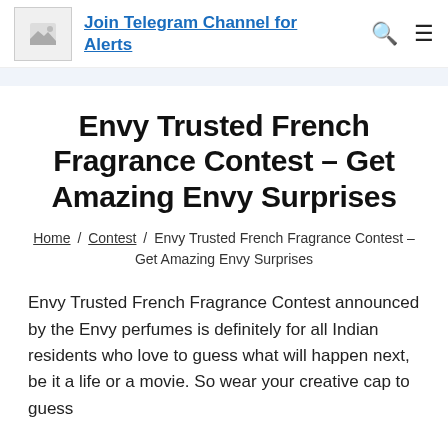Join Telegram Channel for Alerts
Envy Trusted French Fragrance Contest – Get Amazing Envy Surprises
Home / Contest / Envy Trusted French Fragrance Contest – Get Amazing Envy Surprises
Envy Trusted French Fragrance Contest announced by the Envy perfumes is definitely for all Indian residents who love to guess what will happen next, be it a life or a movie. So wear your creative cap to guess